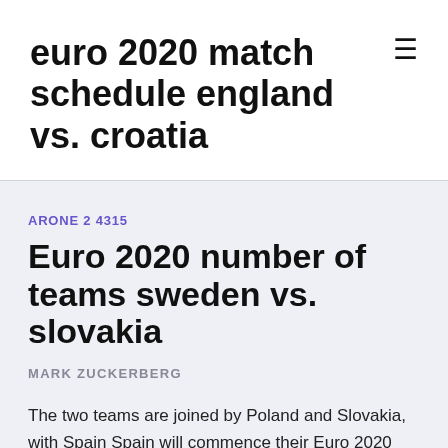euro 2020 match schedule england vs. croatia
ARONE 2 4315
Euro 2020 number of teams sweden vs. slovakia
MARK ZUCKERBERG
The two teams are joined by Poland and Slovakia, with Spain Spain will commence their Euro 2020 campaign